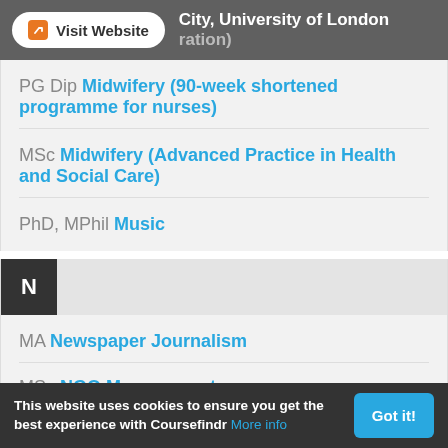Visit Website   City, University of London (ration)
PG Dip Midwifery (90-week shortened programme for nurses)
MSc Midwifery (Advanced Practice in Health and Social Care)
PhD, MPhil Music
N
MA Newspaper Journalism
MSc NGO Management
This website uses cookies to ensure you get the best experience with Coursefindr More info   Got it!